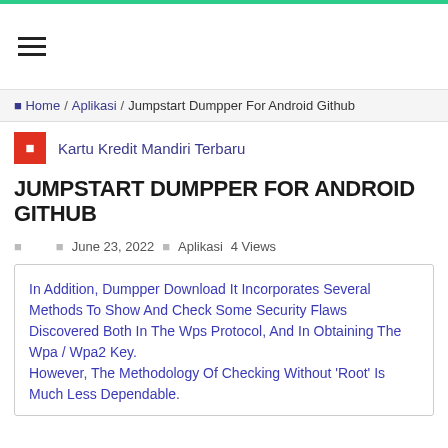☰
Kartu Kredit Mandiri Terbaru
🏠 Home / Aplikasi / Jumpstart Dumpper For Android Github
JUMPSTART DUMPPER FOR ANDROID GITHUB
□  □ June 23, 2022  □ Aplikasi  4 Views
In Addition, Dumpper Download It Incorporates Several Methods To Show And Check Some Security Flaws Discovered Both In The Wps Protocol, And In Obtaining The Wpa / Wpa2 Key.
However, The Methodology Of Checking Without 'Root' Is Much Less Dependable.